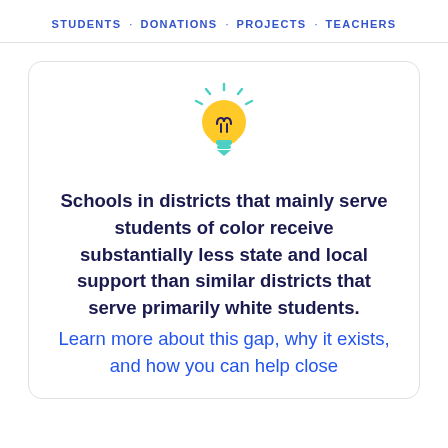STUDENTS · DONATIONS · PROJECTS · TEACHERS
[Figure (illustration): Light bulb icon with yellow bulb body, dark filament details, and cyan/teal rays and base]
Schools in districts that mainly serve students of color receive substantially less state and local support than similar districts that serve primarily white students.
Learn more about this gap, why it exists, and how you can help close